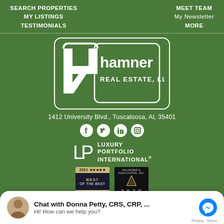SEARCH PROPERTIES
MY LISTINGS
TESTIMONIALS
MEET TEAM
My Newsletter
MORE
[Figure (logo): Hamner Real Estate LLC logo — white stylized H letter mark with house silhouette in a rounded rectangle, with text 'hamner REAL ESTATE, LLC']
1412 University Blvd., Tuscaloosa, AL 35401
[Figure (infographic): Four social media icons in white circles: Facebook, Twitter, LinkedIn, Instagram]
[Figure (logo): Luxury Portfolio International logo — LP monogram in white with text 'LUXURY PORTFOLIO INTERNATIONAL®']
[Figure (infographic): Two award badges: 2021 BEST award badge and a 2020 real estate award badge]
Chat with Donna Petty, CRS, CRP, ...
Hi! How can we help you?